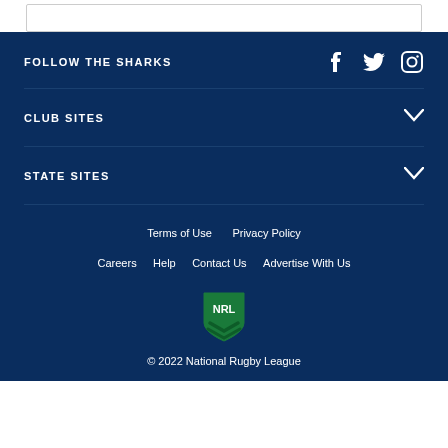FOLLOW THE SHARKS
CLUB SITES
STATE SITES
Terms of Use    Privacy Policy
Careers    Help    Contact Us    Advertise With Us
[Figure (logo): NRL shield logo in green]
© 2022 National Rugby League